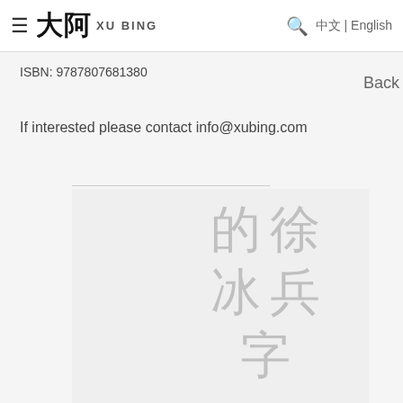≡ 大阿 XU BING 🔍 中文 | English
ISBN: 9787807681380
Back
If interested please contact info@xubing.com
[Figure (illustration): Book cover image area with Chinese characters 徐 的 冰 兵 字 in light gray on a light background]